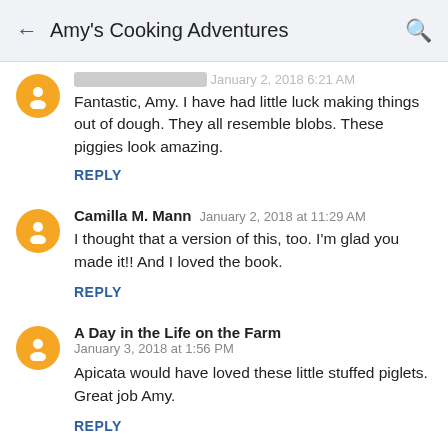Amy's Cooking Adventures
Fantastic, Amy. I have had little luck making things out of dough. They all resemble blobs. These piggies look amazing.
REPLY
Camilla M. Mann  January 2, 2018 at 11:29 AM
I thought that a version of this, too. I'm glad you made it!! And I loved the book.
REPLY
A Day in the Life on the Farm  January 3, 2018 at 1:56 PM
Apicata would have loved these little stuffed piglets. Great job Amy.
REPLY